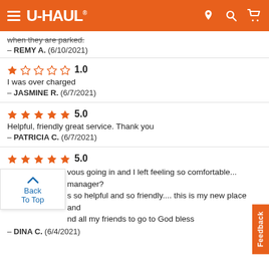U-HAUL
when they are parked.
— REMY A.  (6/10/2021)
1.0 — I was over charged — JASMINE R.  (6/7/2021)
5.0 — Helpful, friendly great service. Thank you — PATRICIA C.  (6/7/2021)
5.0 — vous going in and I left feeling so comfortable... manager? s so helpful and so friendly.... this is my new place and nd all my friends to go to God bless — DINA C.  (6/4/2021)